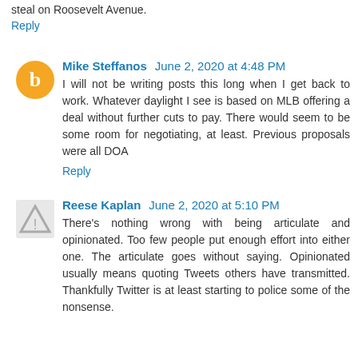steal on Roosevelt Avenue.
Reply
Mike Steffanos  June 2, 2020 at 4:48 PM
I will not be writing posts this long when I get back to work. Whatever daylight I see is based on MLB offering a deal without further cuts to pay. There would seem to be some room for negotiating, at least. Previous proposals were all DOA
Reply
Reese Kaplan  June 2, 2020 at 5:10 PM
There's nothing wrong with being articulate and opinionated. Too few people put enough effort into either one. The articulate goes without saying. Opinionated usually means quoting Tweets others have transmitted. Thankfully Twitter is at least starting to police some of the nonsense.